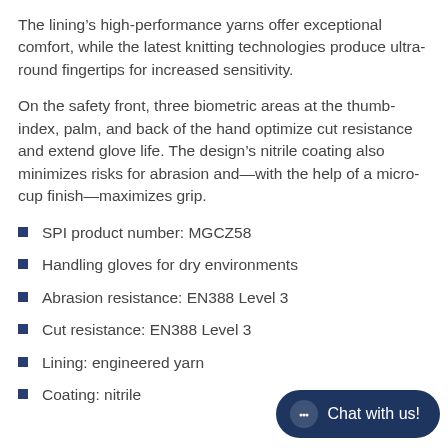The lining’s high-performance yarns offer exceptional comfort, while the latest knitting technologies produce ultra-round fingertips for increased sensitivity.
On the safety front, three biometric areas at the thumb-index, palm, and back of the hand optimize cut resistance and extend glove life. The design’s nitrile coating also minimizes risks for abrasion and—with the help of a micro-cup finish—maximizes grip.
SPI product number: MGCZ58
Handling gloves for dry environments
Abrasion resistance: EN388 Level 3
Cut resistance: EN388 Level 3
Lining: engineered yarn
Coating: nitrile